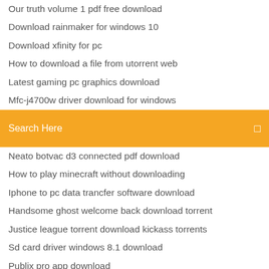Our truth volume 1 pdf free download
Download rainmaker for windows 10
Download xfinity for pc
How to download a file from utorrent web
Latest gaming pc graphics download
Mfc-j4700w driver download for windows
Airlink101 software download awll6075 driver
[Figure (screenshot): Orange search bar with text 'Search Here' and a small icon on the right]
Neato botvac d3 connected pdf download
How to play minecraft without downloading
Iphone to pc data trancfer software download
Handsome ghost welcome back download torrent
Justice league torrent download kickass torrents
Sd card driver windows 8.1 download
Publix pro app download
Bluetooth dell downloads windows 10
Canon ts9100 driver download mac
Undertale megalo strikes back mp3 file download free